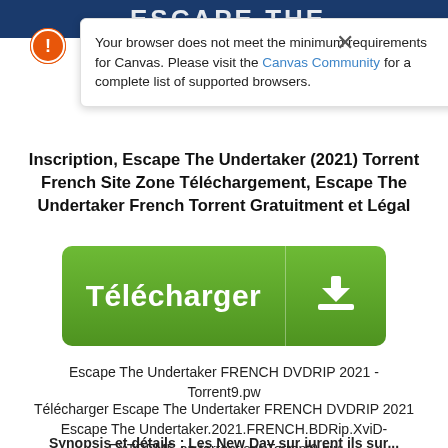[Figure (screenshot): Top dark blue banner with partial text/logo visible at top of page]
Your browser does not meet the minimum requirements for Canvas. Please visit the Canvas Community for a complete list of supported browsers.
Inscription, Escape The Undertaker (2021) Torrent French Site Zone Téléchargement, Escape The Undertaker French Torrent Gratuitment et Légal
[Figure (other): Green download button with text 'Télécharger' on the left and a download icon on the right]
Escape The Undertaker FRENCH DVDRIP 2021 - Torrent9.pw
Télécharger Escape The Undertaker FRENCH DVDRIP 2021 Escape The Undertaker.2021.FRENCH.BDRip.XviD-EXTREME en torrent sur Torrent9.pw
Synopsis et détails : Les New Day sur jurent ils sur...